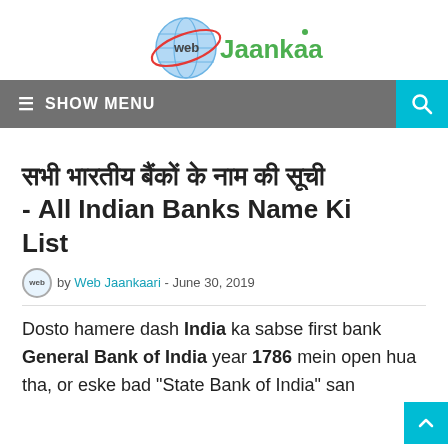[Figure (logo): Web Jaankaari logo with globe graphic and stylized text]
≡ SHOW MENU
सभी भारतीय बैंकों के नाम की सूची - All Indian Banks Name Ki List
by Web Jaankaari - June 30, 2019
Dosto hamere dash India ka sabse first bank General Bank of India year 1786 mein open hua tha, or eske bad "State Bank of India" san